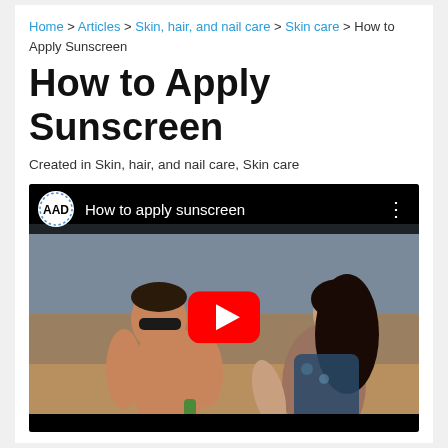Home > Articles > Skin, hair, and nail care > Skin care > How to Apply Sunscreen
How to Apply Sunscreen
Created in Skin, hair, and nail care, Skin care
[Figure (screenshot): YouTube video embed showing 'How to apply sunscreen' by AAD, with a thumbnail of two people at a beach, one applying sunscreen to the other's back. A red YouTube play button is centered on the thumbnail.]